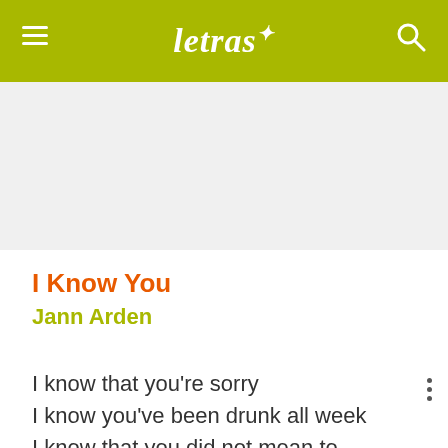letras
I Know You
Jann Arden
I know that you're sorry
I know you've been drunk all week
I know that you did not mean to
Spit out those profanities
I know you're a loser
I know you've had bad skin all your life